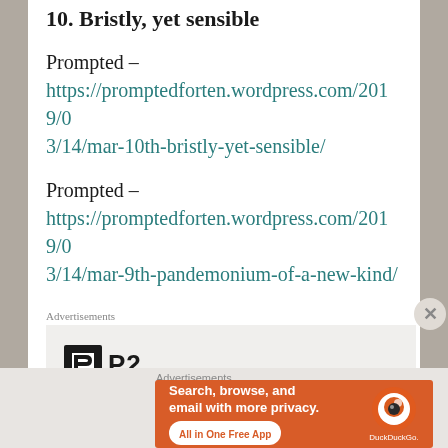10. Bristly, yet sensible
Prompted –
https://promptedforten.wordpress.com/2019/03/14/mar-10th-bristly-yet-sensible/
Prompted –
https://promptedforten.wordpress.com/2019/03/14/mar-9th-pandemonium-of-a-new-kind/
Advertisements
[Figure (logo): P2 logo with black square icon and bold P2 text]
Advertisements
[Figure (infographic): DuckDuckGo advertisement with orange background. Text: Search, browse, and email with more privacy. All in One Free App. DuckDuckGo logo on right.]